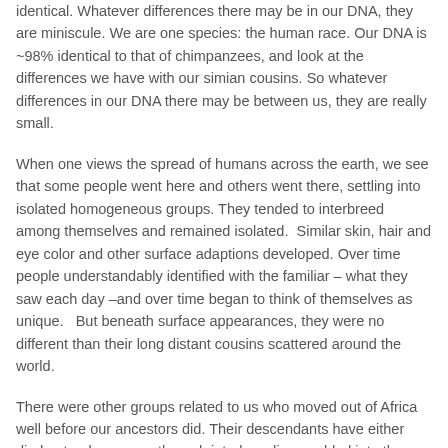identical. Whatever differences there may be in our DNA, they are miniscule. We are one species: the human race. Our DNA is ~98% identical to that of chimpanzees, and look at the differences we have with our simian cousins. So whatever differences in our DNA there may be between us, they are really small.
When one views the spread of humans across the earth, we see that some people went here and others went there, settling into isolated homogeneous groups. They tended to interbreed among themselves and remained isolated. Similar skin, hair and eye color and other surface adaptions developed. Over time people understandably identified with the familiar – what they saw each day –and over time began to think of themselves as unique. But beneath surface appearances, they were no different than their long distant cousins scattered around the world.
There were other groups related to us who moved out of Africa well before our ancestors did. Their descendants have either died out or have now, through interbreeding, molded into the present day